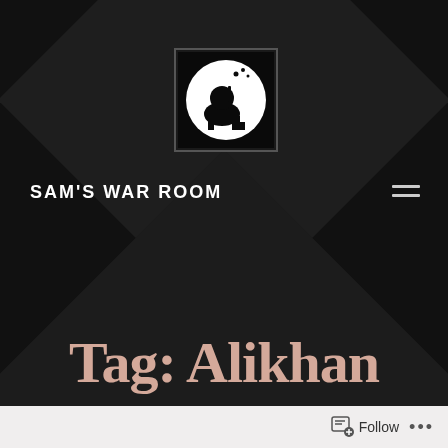[Figure (logo): Circular logo with silhouette of a person and microphone/city skyline, white on black background, inside a dark square container]
SAM'S WAR ROOM
[Figure (illustration): Hamburger/menu icon with two horizontal lines, light gray on dark background]
Tag: Alikhan
[Figure (screenshot): Bottom navigation bar with Follow button and ellipsis menu on light gray background]